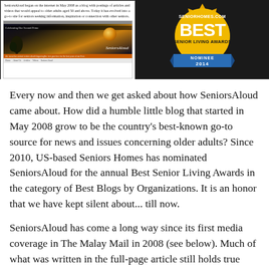[Figure (screenshot): Left side: screenshot of SeniorsAloud website with text about its founding in May 2008 and an inner screenshot showing 'Celebrating Our Second Prime' banner with SeniorsAloud branding. Right side: SeniorHomes.com BEST Senior Living Awards Nominee 2014 badge on dark background.]
Every now and then we get asked about how SeniorsAloud came about. How did a humble little blog that started in May 2008 grow to be the country's best-known go-to source for news and issues concerning older adults? Since 2010, US-based Seniors Homes has nominated SeniorsAloud for the annual Best Senior Living Awards in the category of Best Blogs by Organizations. It is an honor that we have kept silent about... till now.
SeniorsAloud has come a long way since its first media coverage in The Malay Mail in 2008 (see below). Much of what was written in the full-page article still holds true today. However, SeniorsAloud has expanded so much in the intervening years that an update is necessary at this point.